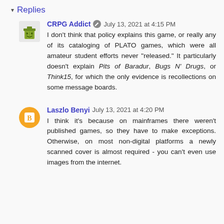▾ Replies
CRPG Addict  July 13, 2021 at 4:15 PM
I don't think that policy explains this game, or really any of its cataloging of PLATO games, which were all amateur student efforts never "released." It particularly doesn't explain Pits of Baradur, Bugs N' Drugs, or Think15, for which the only evidence is recollections on some message boards.
Laszlo Benyi  July 13, 2021 at 4:20 PM
I think it's because on mainframes there weren't published games, so they have to make exceptions. Otherwise, on most non-digital platforms a newly scanned cover is almost required - you can't even use images from the internet.